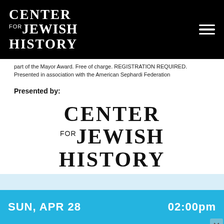CENTER FOR JEWISH HISTORY
part of the Mayor Award. Free of charge. REGISTRATION REQUIRED.
Presented in association with the American Sephardi Federation
Presented by:
[Figure (logo): Center for Jewish History logo — large serif text reading CENTER / for JEWISH / HISTORY]
LECTURE
SUN, APR 28
02:00pm